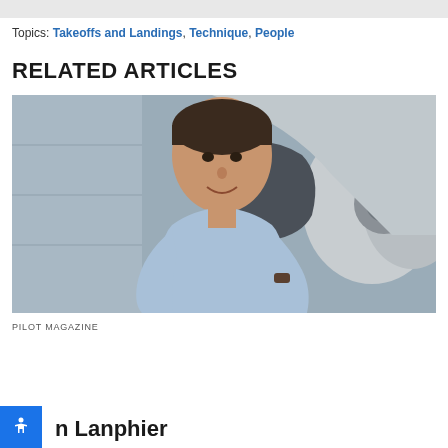Topics: Takeoffs and Landings, Technique, People
RELATED ARTICLES
[Figure (photo): Young man in a light blue shirt standing next to an aircraft in a hangar, smiling at the camera. An airplane propeller and cowling are visible to his right.]
PILOT MAGAZINE
n Lanphier